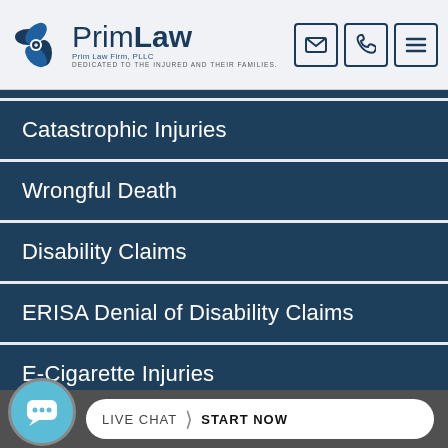[Figure (logo): PrimLaw logo with blue flower icon and text 'PrimLaw', subtitle 'Prim Law Firm, PLLC', tagline 'DEDICATED TO THE INJURED AND THEIR FAMILIES.']
[Figure (infographic): Three navigation icon buttons: envelope (email), telephone, and hamburger menu]
Catastrophic Injuries
Wrongful Death
Disability Claims
ERISA Denial of Disability Claims
E-Cigarette Injuries
[Figure (infographic): Live chat bubble icon and 'LIVE CHAT > START NOW' call-to-action button on dark bar at bottom]